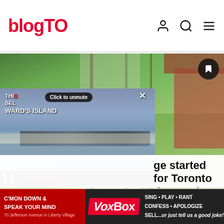blogTO
[Figure (photo): Outdoor scene showing a person in a red t-shirt standing on a tree-lined sidewalk with green grass and a brick building in the background. A video player overlay is shown on the left side with text 'WARD'S ISLAND' and a 'Click to unmute' pill button, showing a waterfront city scene with benches and Toronto skyline. Pause button and progress bar visible at bottom.]
ge started for Toronto drowned while live- rself
[Figure (photo): Advertisement banner for VoxBox at 70 Jefferson Avenue in Liberty Village. Red background on left with text 'C'MON DOWN & SPEAK YOUR MIND'. VoxBox logo in center. Right side lists: SING • PLAY • RANT, CONFESS • APOLOGIZE, SELL...or just tell us a good joke!]